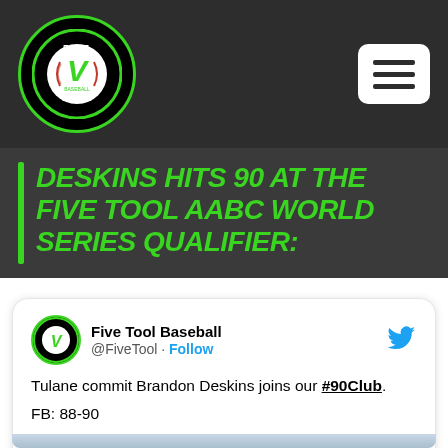[Figure (logo): Five Tool Baseball circular logo on dark header bar with hamburger menu button]
DESKINS HITS 90 AT THE FIVE TOOL AABC WORLD SERIES QUALIFIER:
Five Tool Baseball @FiveTool · Follow
Tulane commit Brandon Deskins joins our #90Club.
FB: 88-90
@BanditoBaseball LHP @DeskinsBrandon.